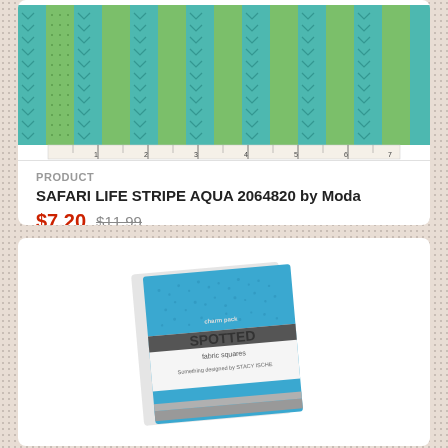[Figure (photo): Safari Life Stripe Aqua fabric swatch showing teal and green vertical stripe pattern with herringbone/chevron details, displayed with a ruler at the bottom showing measurements up to 7, with 'moda' branding text]
PRODUCT
SAFARI LIFE STRIPE AQUA 2064820 by Moda
$7.20 $11.99
[Figure (photo): A charm pack of blue spotted fabric called 'SPOTTED' wrapped with a white paper band label, slightly angled, showing turquoise/blue fabric squares stacked together]